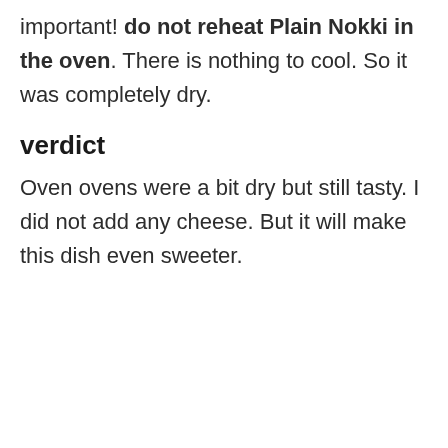important! do not reheat Plain Nokki in the oven. There is nothing to cool. So it was completely dry.
verdict
Oven ovens were a bit dry but still tasty. I did not add any cheese. But it will make this dish even sweeter.